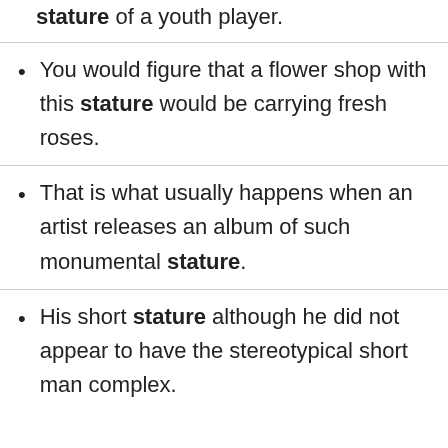stature of a youth player.
You would figure that a flower shop with this stature would be carrying fresh roses.
That is what usually happens when an artist releases an album of such monumental stature.
His short stature although he did not appear to have the stereotypical short man complex.